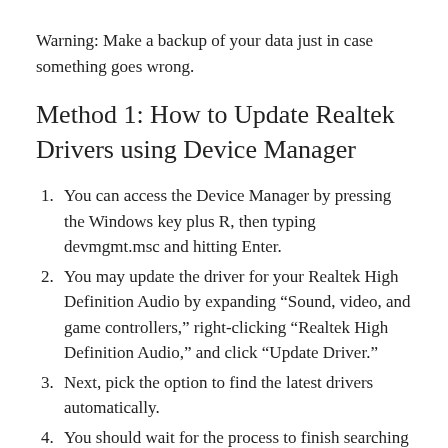Warning: Make a backup of your data just in case something goes wrong.
Method 1: How to Update Realtek Drivers using Device Manager
You can access the Device Manager by pressing the Windows key plus R, then typing devmgmt.msc and hitting Enter.
You may update the driver for your Realtek High Definition Audio by expanding “Sound, video, and game controllers,” right-clicking “Realtek High Definition Audio,” and click “Update Driver.”
Next, pick the option to find the latest drivers automatically.
You should wait for the process to finish searching for updated sound drivers and then click Install to apply the updates if they are found. When you’ve completed making